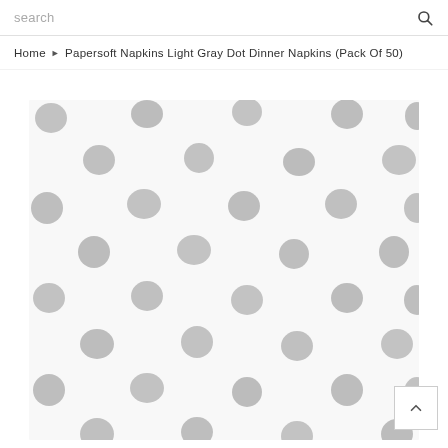search
Home › Papersoft Napkins Light Gray Dot Dinner Napkins (Pack Of 50)
[Figure (photo): Product photo of a white napkin with scattered light gray polka dots pattern, shown as a square close-up image.]